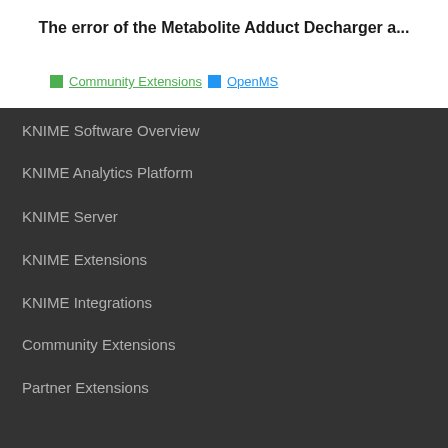The error of the Metabolite Adduct Decharger a...
Community Extensions  OpenMS
KNIME Software Overview
KNIME Analytics Platform
KNIME Server
KNIME Extensions
KNIME Integrations
Community Extensions
Partner Extensions
KNOWLEDGE BASE
Getting Started
Documentation
Developer
White Papers